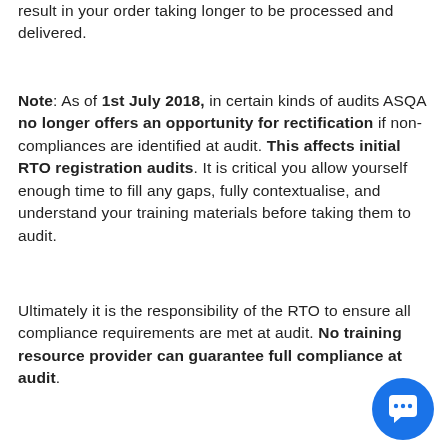result in your order taking longer to be processed and delivered.
Note: As of 1st July 2018, in certain kinds of audits ASQA no longer offers an opportunity for rectification if non-compliances are identified at audit. This affects initial RTO registration audits. It is critical you allow yourself enough time to fill any gaps, fully contextualise, and understand your training materials before taking them to audit.
Ultimately it is the responsibility of the RTO to ensure all compliance requirements are met at audit. No training resource provider can guarantee full compliance at audit.
[Figure (other): Blue circular chat/messenger button in bottom right corner]